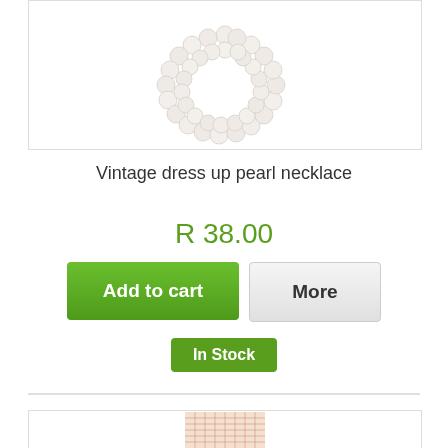[Figure (photo): Pearl necklace product image — white/cream beaded necklace strands coiled on white background]
Vintage dress up pearl necklace
R 38.00
Add to cart
More
In Stock
[Figure (photo): Fishnet tights/stockings product image — partial view at bottom of page]